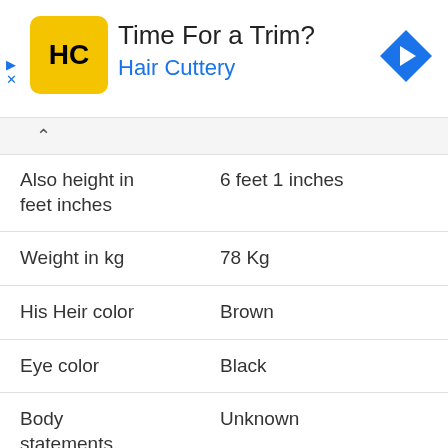[Figure (logo): Hair Cuttery advertisement banner with yellow HC logo square, title 'Time For a Trim?', subtitle 'Hair Cuttery' in blue, and a blue diamond navigation icon on the right.]
| Attribute | Value |
| --- | --- |
| Also height in feet inches | 6 feet 1 inches |
| Weight in kg | 78 Kg |
| His Heir color | Brown |
| Eye color | Black |
| Body statements | Unknown |